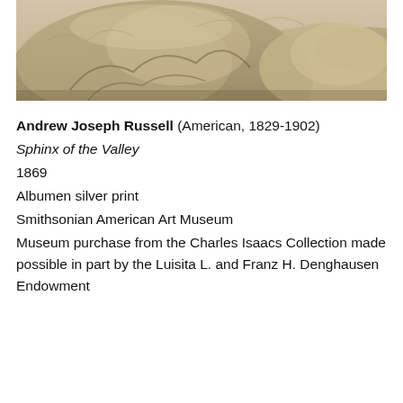[Figure (photo): Sepia-toned photograph showing a large rocky outcrop or boulder formation, resembling a sphinx shape, with landscape in the background. The image is cropped, showing mainly the upper portion of the rock formation.]
Andrew Joseph Russell (American, 1829-1902)
Sphinx of the Valley
1869
Albumen silver print
Smithsonian American Art Museum
Museum purchase from the Charles Isaacs Collection made possible in part by the Luisita L. and Franz H. Denghausen Endowment